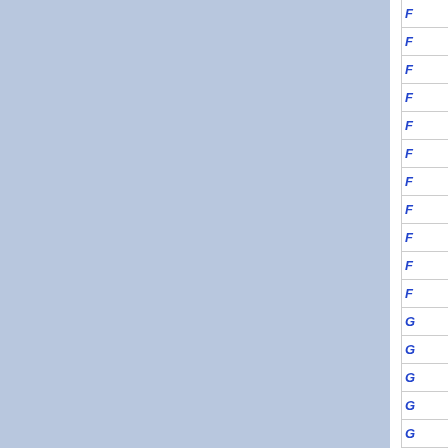[Figure (other): Navigation index panel showing two large blue-grey rectangular panels separated by a white vertical divider, with a right sidebar containing alphabetical letter entries (F and G series) in blue italic text, each separated by horizontal lines.]
F
F
F
F
F
F
F
F
F
F
F
G
G
G
G
G